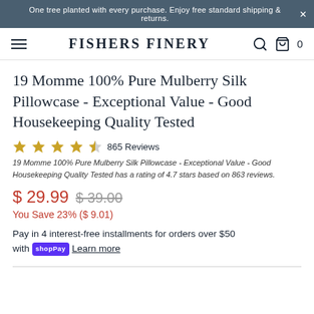One tree planted with every purchase. Enjoy free standard shipping & returns.
FISHERS FINERY
19 Momme 100% Pure Mulberry Silk Pillowcase - Exceptional Value - Good Housekeeping Quality Tested
865 Reviews
19 Momme 100% Pure Mulberry Silk Pillowcase - Exceptional Value - Good Housekeeping Quality Tested has a rating of 4.7 stars based on 863 reviews.
$ 29.99  $ 39.00
You Save 23% ($ 9.01)
Pay in 4 interest-free installments for orders over $50 with shopPay Learn more